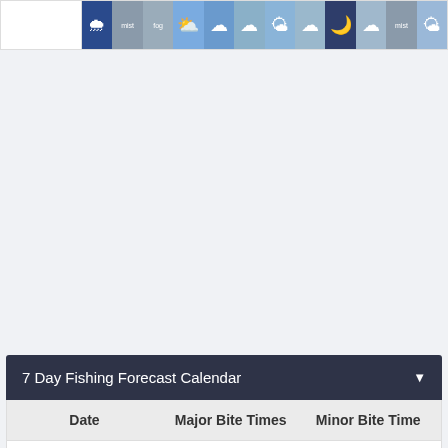[Figure (infographic): Weather icon strip showing a row of weather condition icons including rain, mist, fog, cloudy, overcast, cloud, sunny, cloud, night, cloud, mist, and sunny icons on colored backgrounds]
7 Day Fishing Forecast Calendar
| Date | Major Bite Times | Minor Bite Time |
| --- | --- | --- |